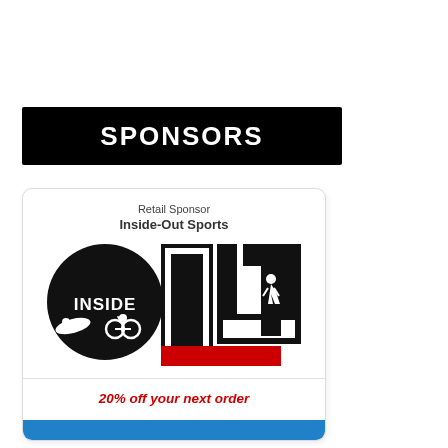SPONSORS
Retail Sponsor
Inside-Out Sports
[Figure (logo): Inside-Out Sports logo with black circle containing INSIDE text and triathlon athlete silhouettes, OOT letters in large black, and red SPORTS banner below]
20% off your next order